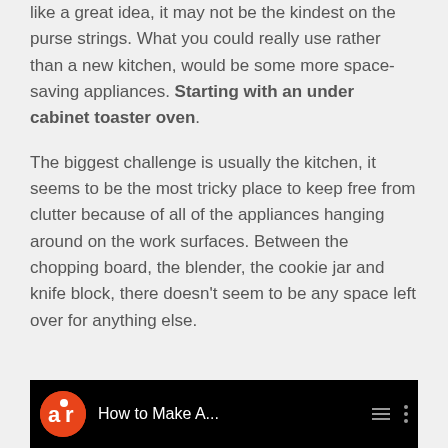like a great idea, it may not be the kindest on the purse strings. What you could really use rather than a new kitchen, would be some more space-saving appliances. Starting with an under cabinet toaster oven.

The biggest challenge is usually the kitchen, it seems to be the most tricky place to keep free from clutter because of all of the appliances hanging around on the work surfaces. Between the chopping board, the blender, the cookie jar and knife block, there doesn't seem to be any space left over for anything else.
[Figure (screenshot): Video thumbnail showing a black bar with orange 'air' logo and text 'How to Make A...' with hamburger menu and dots icons]